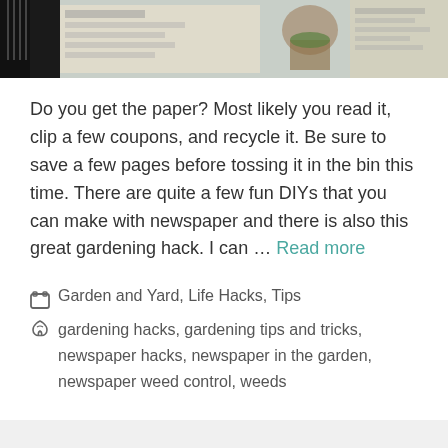[Figure (photo): Partial photo at top showing newspapers and gardening items with a dark comb/brush visible on the left edge]
Do you get the paper? Most likely you read it, clip a few coupons, and recycle it. Be sure to save a few pages before tossing it in the bin this time. There are quite a few fun DIYs that you can make with newspaper and there is also this great gardening hack. I can … Read more
Garden and Yard, Life Hacks, Tips
gardening hacks, gardening tips and tricks, newspaper hacks, newspaper in the garden, newspaper weed control, weeds